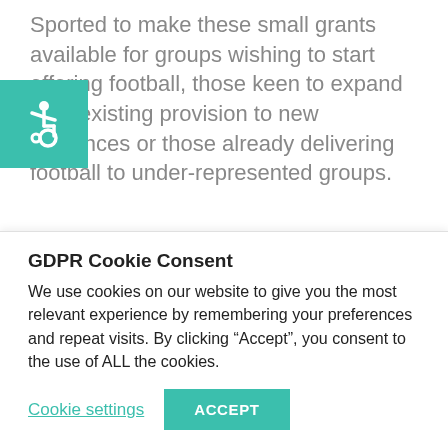Sported to make these small grants available for groups wishing to start offering football, those keen to expand their existing provision to new audiences or those already delivering football to under-represented groups.
[Figure (illustration): Teal/green square with a white wheelchair accessibility icon]
The programme's engagement will focus on including girls and young people from lower socio-economic and under-represented groups: culturally diverse communities, people with disabilities, and people from the
GDPR Cookie Consent
We use cookies on our website to give you the most relevant experience by remembering your preferences and repeat visits. By clicking “Accept”, you consent to the use of ALL the cookies.
Cookie settings | ACCEPT